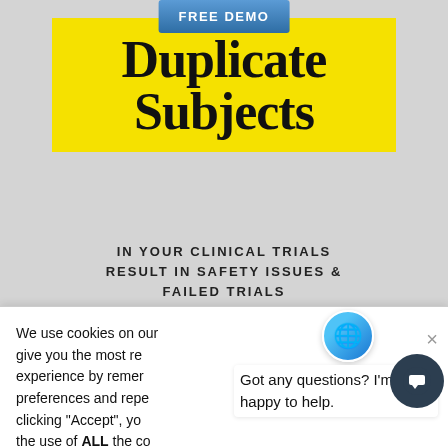[Figure (screenshot): Website screenshot showing 'FREE DEMO' button and 'Duplicate Subjects' headline on yellow background with subtitle 'IN YOUR CLINICAL TRIALS RESULT IN SAFETY ISSUES & FAILED TRIALS']
We use cookies on our website to give you the most relevant experience by remembering your preferences and repeat visits. By clicking "Accept", you consent to the use of ALL the cookies.
Got any questions? I'm happy to help.
Duplicate or professional research subjects